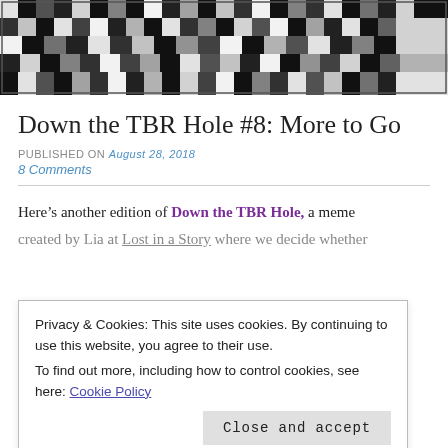[Figure (photo): Black and white abstract pixel/mosaic pattern header image]
Down the TBR Hole #8: More to Go
PUBLISHED ON August 28, 2018
8 Comments
Here's another edition of Down the TBR Hole, a meme created by Lia at Lost in a Story where we decide whether
Privacy & Cookies: This site uses cookies. By continuing to use this website, you agree to their use.
To find out more, including how to control cookies, see here: Cookie Policy
Close and accept
Order on ascending date added.